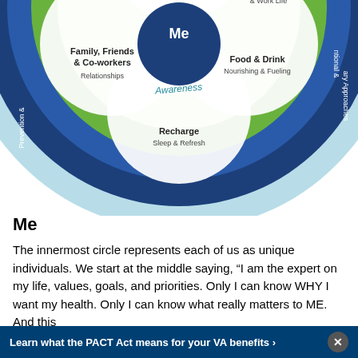[Figure (infographic): Whole Health wheel diagram (cropped, top portion visible). Concentric rings: outermost light-blue ring, then dark blue ring with curved text labels ('Prevention &...', 'ntional &...', 'ary Approaches'), then green ring, then inner white petal shapes with categories: Spirit & Soul (Growing & Connecting), Development (Personal Life & Work Life), Family Friends & Co-workers (Relationships), Food & Drink (Nourishing & Fueling), Recharge (Sleep & Refresh), with 'Me' in a dark blue circle at the center and 'Awareness' written in teal.]
Me
The innermost circle represents each of us as unique individuals. We start at the middle saying, “I am the expert on my life, values, goals, and priorities. Only I can know WHY I want my health. Only I can know what really matters to ME. And this
Learn what the PACT Act means for your VA benefits ›